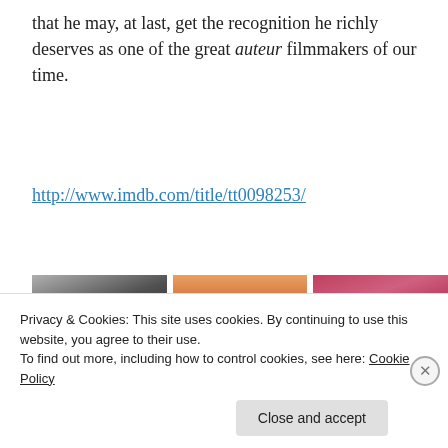that he may, at last, get the recognition he richly deserves as one of the great auteur filmmakers of our time.
http://www.imdb.com/title/tt0098253/
[Figure (photo): Three film stills/screenshots shown side by side: a dark grey-toned indoor scene, a warm sunset outdoor scene with a silhouetted building, and a reddish-pink scene with people.]
Privacy & Cookies: This site uses cookies. By continuing to use this website, you agree to their use. To find out more, including how to control cookies, see here: Cookie Policy